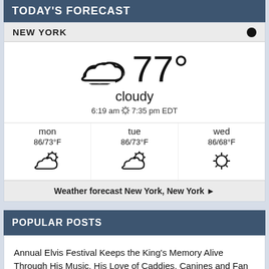TODAY'S FORECAST
NEW YORK
[Figure (infographic): Current weather display showing cloudy icon and 77° temperature, condition 'cloudy', sunrise 6:19 am sunset 7:35 pm EDT, with 3-day forecast for mon/tue/wed]
Weather forecast New York, New York ▶
POPULAR POSTS
Annual Elvis Festival Keeps the King's Memory Alive Through His Music, His Love of Caddies, Canines and Fan Camaraderie